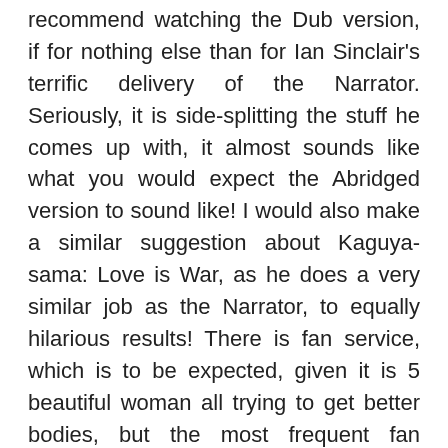recommend watching the Dub version, if for nothing else than for Ian Sinclair's terrific delivery of the Narrator. Seriously, it is side-splitting the stuff he comes up with, it almost sounds like what you would expect the Abridged version to sound like! I would also make a similar suggestion about Kaguya-sama: Love is War, as he does a very similar job as the Narrator, to equally hilarious results! There is fan service, which is to be expected, given it is 5 beautiful woman all trying to get better bodies, but the most frequent fan service is actually Machio himself, as he frequently is in nothing but a black speedo, with all those rippling muscles! So, if you want to learn more about fitness, or maybe just have a good laugh, give it a watch! And who knows: maybe after learning a thing or two from the anime, people will start asking you, “How Heavy Are the Dumbbells You Lift”?